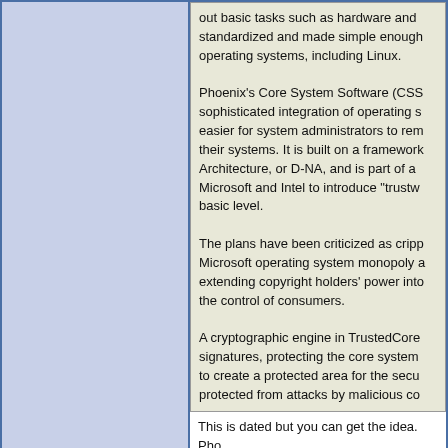out basic tasks such as hardware and standardized and made simple enough operating systems, including Linux.
Phoenix's Core System Software (CSS sophisticated integration of operating s easier for system administrators to rem their systems. It is built on a framewor Architecture, or D-NA, and is part of a Microsoft and Intel to introduce "trustw basic level.
The plans have been criticized as cripp Microsoft operating system monopoly a extending copyright holders' power int the control of consumers.
A cryptographic engine in TrustedCore signatures, protecting the core system to create a protected area for the secu protected from attacks by malicious co
This is dated but you can get the idea. Ph BIOS arena. Corporate admins like the ide are ways to prevent changing of workstatio
01-17-2008, 09:15 PM